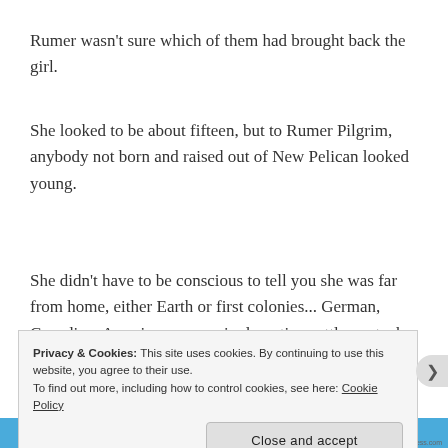Rumer wasn't sure which of them had brought back the girl.
She looked to be about fifteen, but to Rumer Pilgrim, anybody not born and raised out of New Pelican looked young.
She didn't have to be conscious to tell you she was far from home, either Earth or first colonies... German, Canadian, American, some single-nation settlement; she was that same kind of glass-house
Privacy & Cookies: This site uses cookies. By continuing to use this website, you agree to their use.
To find out more, including how to control cookies, see here: Cookie Policy
Close and accept